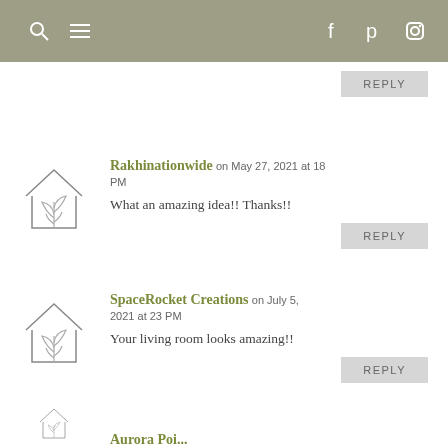Navigation header with search, menu, facebook, pinterest, instagram icons
REPLY (partial, top)
Rakhinationwide on May 27, 2021 at 18 PM
What an amazing idea!! Thanks!!
REPLY
SpaceRocket Creations on July 5, 2021 at 23 PM
Your living room looks amazing!!
REPLY
Aurora Poi... (partial, bottom)